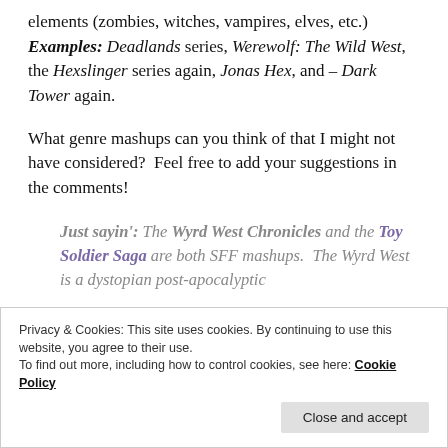elements (zombies, witches, vampires, elves, etc.)
Examples: Deadlands series, Werewolf: The Wild West, the Hexslinger series again, Jonas Hex, and – Dark Tower again.
What genre mashups can you think of that I might not have considered?  Feel free to add your suggestions in the comments!
Just sayin': The Wyrd West Chronicles and the Toy Soldier Saga are both SFF mashups.  The Wyrd West is a dystopian post-apocalyptic
Privacy & Cookies: This site uses cookies. By continuing to use this website, you agree to their use.
To find out more, including how to control cookies, see here: Cookie Policy
Close and accept